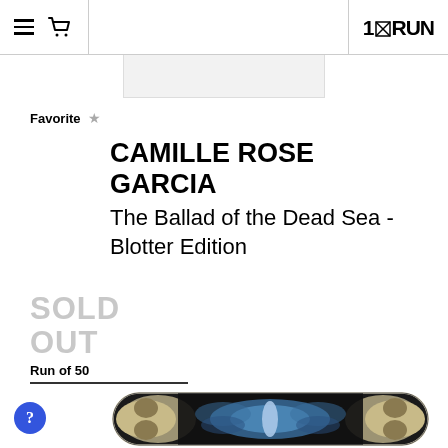1×RUN
Favorite ★
CAMILLE ROSE GARCIA
The Ballad of the Dead Sea - Blotter Edition
SOLD OUT
Run of 50
[Figure (photo): Skateboard deck with ornate dark psychedelic artwork featuring a moth/butterfly motif in blue and cream tones on a black background.]